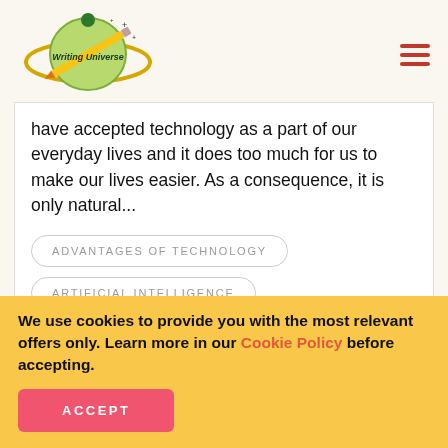[Figure (logo): Writing Universe logo — planet with pencil and stars, yellow and green colors]
have accepted technology as a part of our everyday lives and it does too much for us to make our lives easier. As a consequence, it is only natural...
ADVANTAGES OF TECHNOLOGY
ARTIFICIAL INTELLIGENCE
BIOTECHNOLOGY
COMPUTER
We use cookies to provide you with the most relevant offers only. Learn more in our Cookie Policy before accepting.
ACCEPT